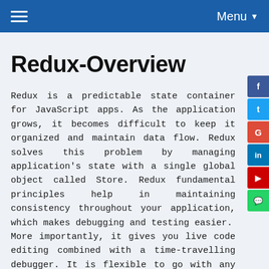≡  Menu ▼
Redux-Overview
Redux is a predictable state container for JavaScript apps. As the application grows, it becomes difficult to keep it organized and maintain data flow. Redux solves this problem by managing application's state with a single global object called Store. Redux fundamental principles help in maintaining consistency throughout your application, which makes debugging and testing easier.
More importantly, it gives you live code editing combined with a time-travelling debugger. It is flexible to go with any view layer such as React, Angular, Meteor, etc.